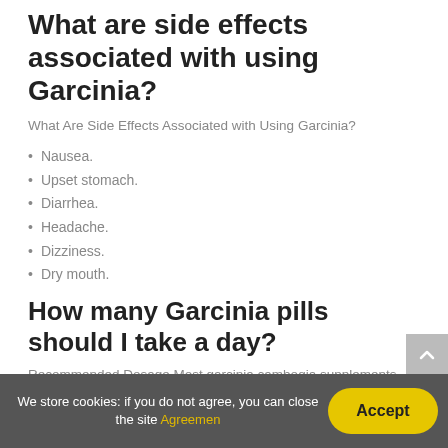What are side effects associated with using Garcinia?
What Are Side Effects Associated with Using Garcinia?
Nausea.
Upset stomach.
Diarrhea.
Headache.
Dizziness.
Dry mouth.
How many Garcinia pills should I take a day?
Recommended Dosage Most garcinia cambogia supplements suggest taking one 500-mg pill three times a day before a
We store cookies: if you do not agree, you can close the site Agreemen